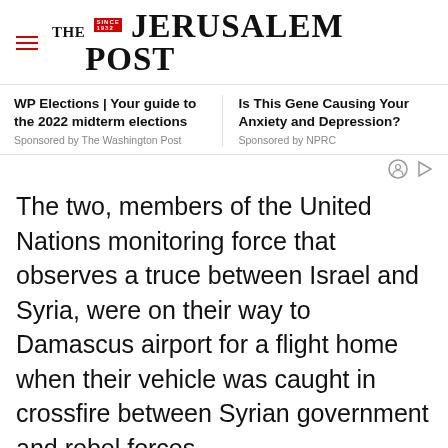THE JERUSALEM POST
WP Elections | Your guide to the 2022 midterm elections
Sponsored by The Washington Post
Is This Gene Causing Your Anxiety and Depression?
Sponsored by NPRC
The two, members of the United Nations monitoring force that observes a truce between Israel and Syria, were on their way to Damascus airport for a flight home when their vehicle was caught in crossfire between Syrian government and rebel forces.
Advertisement